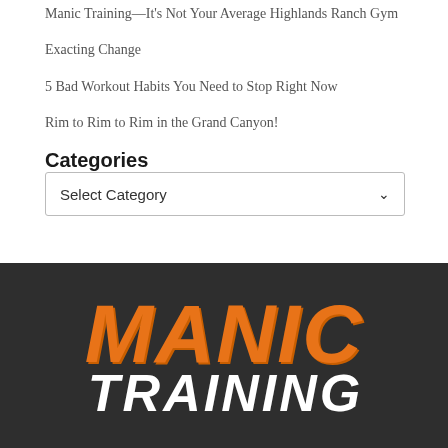Manic Training—It's Not Your Average Highlands Ranch Gym
Exacting Change
5 Bad Workout Habits You Need to Stop Right Now
Rim to Rim to Rim in the Grand Canyon!
Categories
Select Category
[Figure (logo): Manic Training logo with large orange MANIC text and white TRAINING text on dark gray background]